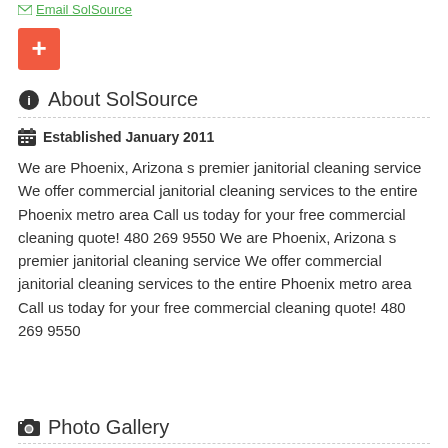Email SolSource
[Figure (other): Red plus button icon]
About SolSource
Established January 2011
We are Phoenix, Arizona s premier janitorial cleaning service We offer commercial janitorial cleaning services to the entire Phoenix metro area Call us today for your free commercial cleaning quote! 480 269 9550 We are Phoenix, Arizona s premier janitorial cleaning service We offer commercial janitorial cleaning services to the entire Phoenix metro area Call us today for your free commercial cleaning quote! 480 269 9550
Photo Gallery